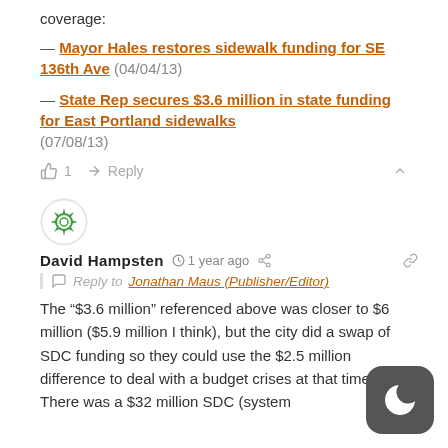coverage:
— Mayor Hales restores sidewalk funding for SE 136th Ave (04/04/13)
— State Rep secures $3.6 million in state funding for East Portland sidewalks (07/08/13)
👍 1  ➤ Reply  ∧
[Figure (illustration): Green circular avatar icon with star/leaf pattern]
David Hampsten  🕐 1 year ago  share  link — Reply to Jonathan Maus (Publisher/Editor)
The “$3.6 million” referenced above was closer to $6 million ($5.9 million I think), but the city did a swap of SDC funding so they could use the $2.5 million difference to deal with a budget crises at that time. There was a $32 million SDC (system